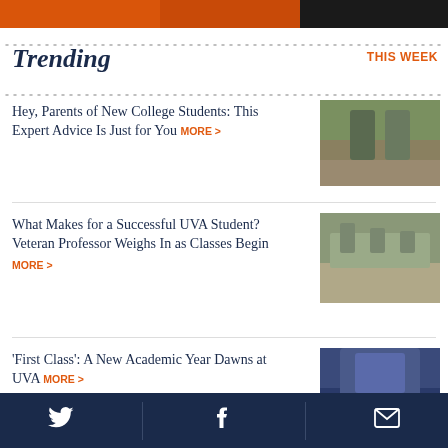[Figure (photo): Top banner image with orange and dark tones, partially cropped]
Trending
THIS WEEK
Hey, Parents of New College Students: This Expert Advice Is Just for You MORE >
[Figure (photo): Two students walking on campus near brick building]
What Makes for a Successful UVA Student? Veteran Professor Weighs In as Classes Begin MORE >
[Figure (photo): Students sitting on outdoor stone steps on UVA campus]
'First Class': A New Academic Year Dawns at UVA MORE >
[Figure (photo): Crowd of students gathered at UVA entrance under archway]
Twitter  Facebook  Email